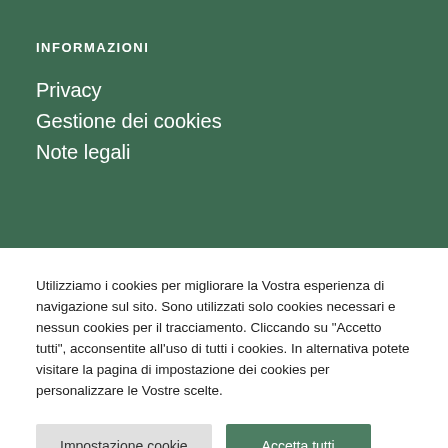INFORMAZIONI
Privacy
Gestione dei cookies
Note legali
Utilizziamo i cookies per migliorare la Vostra esperienza di navigazione sul sito. Sono utilizzati solo cookies necessari e nessun cookies per il tracciamento. Cliccando su “Accetto tutti”, acconsentite all'uso di tutti i cookies. In alternativa potete visitare la pagina di impostazione dei cookies per personalizzare le Vostre scelte.
Impostazione cookie
Accetta tutti